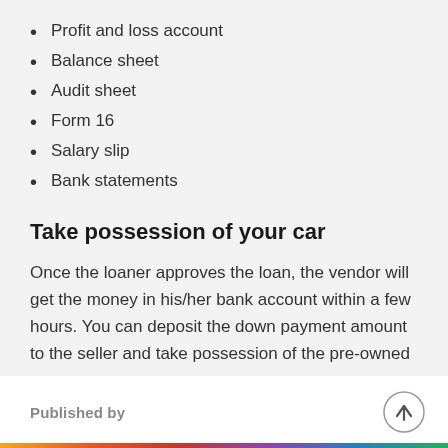Profit and loss account
Balance sheet
Audit sheet
Form 16
Salary slip
Bank statements
Take possession of your car
Once the loaner approves the loan, the vendor will get the money in his/her bank account within a few hours. You can deposit the down payment amount to the seller and take possession of the pre-owned car.
Published by